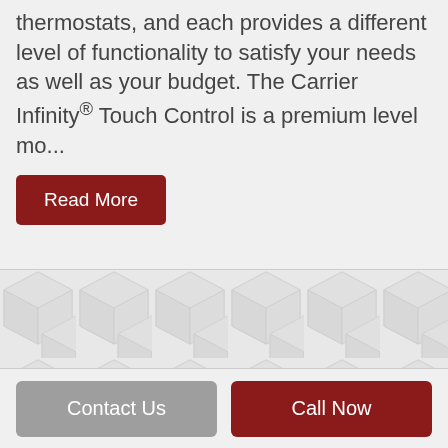thermostats, and each provides a different level of functionality to satisfy your needs as well as your budget. The Carrier Infinity® Touch Control is a premium level mo...
[Figure (illustration): Hexagonal geometric pattern background in light grey]
Contact Us | Call Now